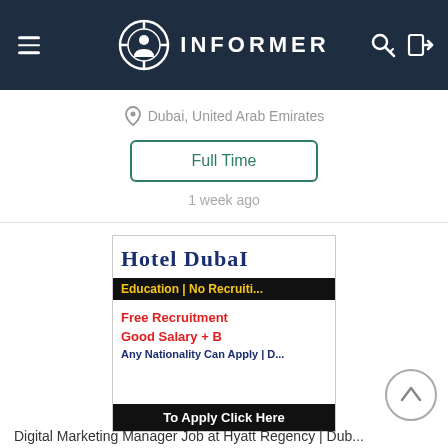INFORMER
Dubai, United Arab Emirates
Full Time
1 week ago
[Figure (screenshot): Hotel Dubai job advertisement image with text: HOTEL DUBAI, Education | No Recruit..., Free Recruitment, Good Salary + B..., Any Nationality Can Apply | D..., To Apply Click Here]
Digital Marketing Manager Job at Hyatt Regency | Dub...